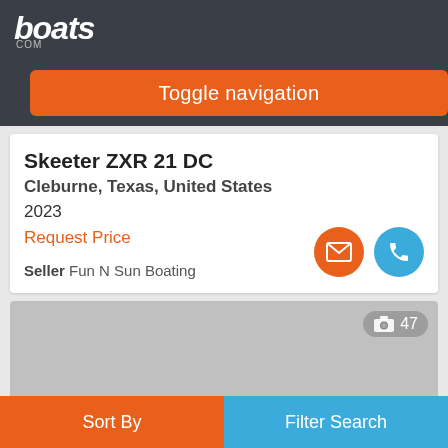boats.com
Toggle navigation
Skeeter ZXR 21 DC
Cleburne, Texas, United States
2023
Request Price
Seller Fun N Sun Boating
[Figure (photo): Gray placeholder image for boat listing photo, with photo count badge showing camera icon and 47]
Sort By | Filter Search